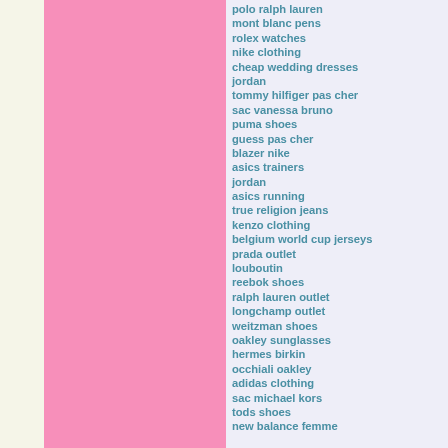[Figure (illustration): Left cream/beige vertical strip and large pink vertical block occupying the left portion of the page]
polo ralph lauren
mont blanc pens
rolex watches
nike clothing
cheap wedding dresses
jordan
tommy hilfiger pas cher
sac vanessa bruno
puma shoes
guess pas cher
blazer nike
asics trainers
jordan
asics running
true religion jeans
kenzo clothing
belgium world cup jerseys
prada outlet
louboutin
reebok shoes
ralph lauren outlet
longchamp outlet
weitzman shoes
oakley sunglasses
hermes birkin
occhiali oakley
adidas clothing
sac michael kors
tods shoes
new balance femme